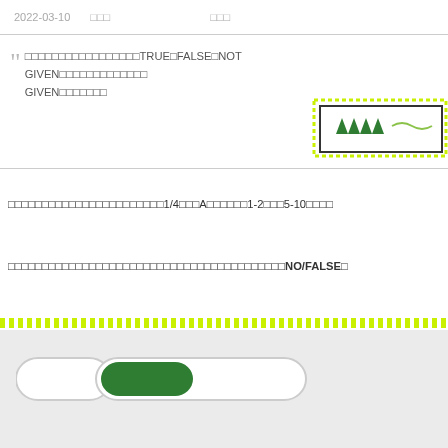2022-03-10  □□□  □□□
「□□□□□□□□□□□□□□□□□TRUE□FALSE□NOT GIVEN□□□□□□□□□□□□□GIVEN□□□□□□□
[Figure (illustration): Decorative box with dotted green border containing tree icons and wave line]
□□□□□□□□□□□□□□□□□□□□□□□1/4□□□A□□□□□□1-2□□□5-10□□□□
□□□□□□□□□□□□□□□□□□□□□□□□□□□□□□□□□□□□□□□□NO/FALSE□